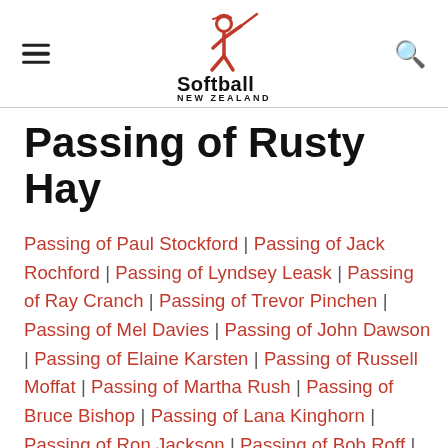Softball New Zealand
Passing of Rusty Hay
Passing of Paul Stockford | Passing of Jack Rochford | Passing of Lyndsey Leask | Passing of Ray Cranch | Passing of Trevor Pinchen | Passing of Mel Davies | Passing of John Dawson | Passing of Elaine Karsten | Passing of Russell Moffat | Passing of Martha Rush | Passing of Bruce Bishop | Passing of Lana Kinghorn | Passing of Ron Jackson | Passing of Bob Roff | Passing of Bill Massey | Passing of Annie Lineham | Passing of Steven Mulholland |